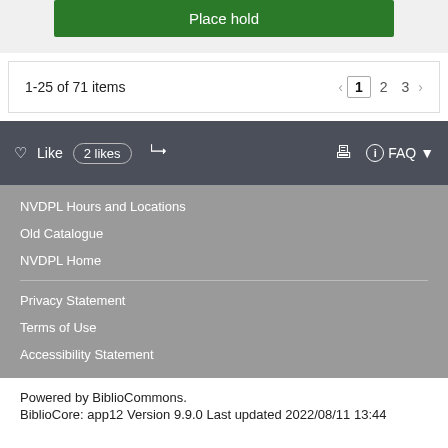Place hold
1-25 of 71 items
< 1 2 3 >
Like  2 likes  [share icon]  [print icon]  FAQ
NVDPL Hours and Locations
Old Catalogue
NVDPL Home
Privacy Statement
Terms of Use
Accessibility Statement
Powered by BiblioCommons.
BiblioCore: app12 Version 9.9.0 Last updated 2022/08/11 13:44